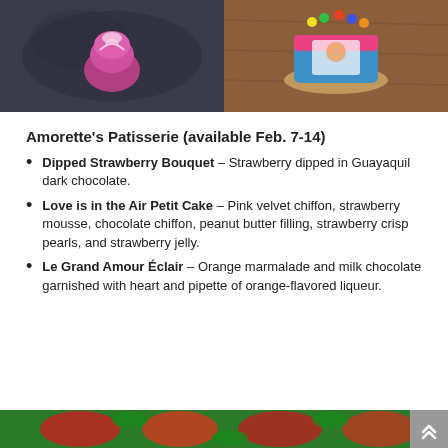[Figure (photo): Two photos side by side: left shows a pink chocolate-dipped strawberry bouquet on a dark decorative background; right shows a colorful decorated cake on a wooden surface.]
Amorette's Patisserie (available Feb. 7-14)
Dipped Strawberry Bouquet – Strawberry dipped in Guayaquil dark chocolate.
Love is in the Air Petit Cake – Pink velvet chiffon, strawberry mousse, chocolate chiffon, peanut butter filling, strawberry crisp pearls, and strawberry jelly.
Le Grand Amour Éclair – Orange marmalade and milk chocolate garnished with heart and pipette of orange-flavored liqueur.
[Figure (photo): Bottom strip showing a red and green floral or food image.]